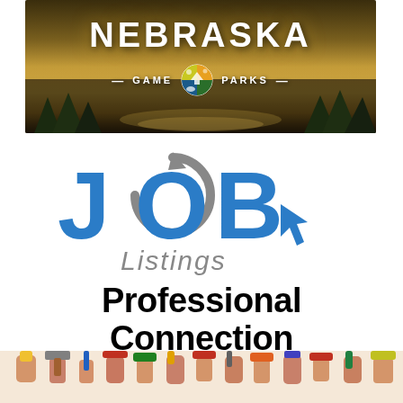[Figure (logo): Nebraska Game & Parks banner logo with landscape background showing river/nature scene in golden tones, large white text NEBRASKA above, with — GAME [circular logo] PARKS — subtitle]
[Figure (logo): JOB Listings logo: large blue bold J, grey circular arrow with O inside forming the word JOB, blue B, italic grey 'Listings' text below with blue arrow cursor icon]
Professional Connection
[Figure (photo): Photo of multiple hands raised holding various colorful tools including hammers, wrenches, screwdrivers, pliers, tape measure, and other hand tools]